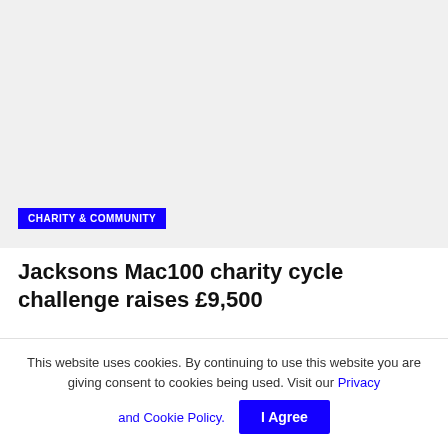[Figure (photo): Light gray placeholder image area at the top of the article]
CHARITY & COMMUNITY
Jacksons Mac100 charity cycle challenge raises £9,500
© SEPTEMBER 1, 2022
This website uses cookies. By continuing to use this website you are giving consent to cookies being used. Visit our Privacy and Cookie Policy.
I Agree